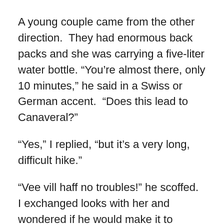A young couple came from the other direction.  They had enormous back packs and she was carrying a five-liter water bottle. “You’re almost there, only 10 minutes,” he said in a Swiss or German accent.  “Does this lead to Canaveral?”
“Yes,” I replied, “but it’s a very long, difficult hike.”
“Vee vill haff no troubles!” he scoffed.  I exchanged looks with her and wondered if he would make it to Canaveral alive.
—
I descended back onto a sandy path and walked through a cool grove of palms toward an unmissable sign that said something about an entrance fee.  Normally I am a rule-abiding person, but I was too tired to stand in the line of